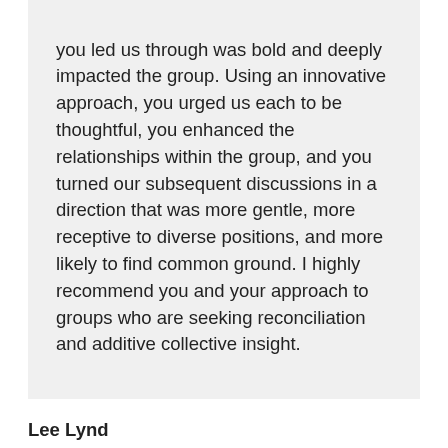you led us through was bold and deeply impacted the group. Using an innovative approach, you urged us each to be thoughtful, you enhanced the relationships within the group, and you turned our subsequent discussions in a direction that was more gentle, more receptive to diverse positions, and more likely to find common ground. I highly recommend you and your approach to groups who are seeking reconciliation and additive collective insight.
Lee Lynd
Professor of engineering and biology,